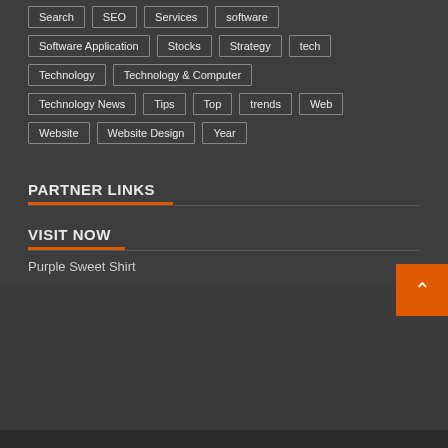Marketing, news, quantum, Review
Search, SEO, Services, software
Software Application, Stocks, Strategy, tech
Technology, Technology & Computer
Technology News, Tips, Top, trends, Web
Website, Website Design, Year
PARTNER LINKS
VISIT NOW
Purple Sweet Shirt